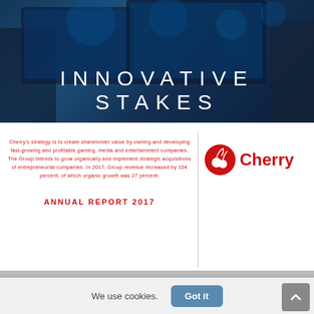[Figure (photo): Hero banner photo showing people working with monitors/screens in a dark tech environment]
INNOVATIVE STAKES
Cherry's strategy is to create shareholder value by owning and developing fast-growing and profitable gaming, media and entertainment companies. The Group intends to grow organically and implement strategic acquisitions of entrepreneurial companies. In 2017, Group revenue increased by 104 percent, of which organic growth was 27 percent.
[Figure (logo): Cherry logo - red circle with white cherry icon and Cherry text in red]
ANNUAL REPORT 2017
We use cookies.
Got it